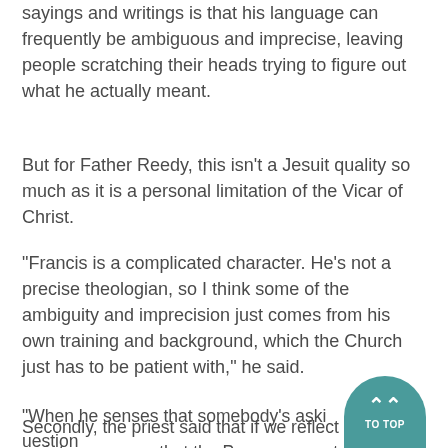sayings and writings is that his language can frequently be ambiguous and imprecise, leaving people scratching their heads trying to figure out what he actually meant.
But for Father Reedy, this isn't a Jesuit quality so much as it is a personal limitation of the Vicar of Christ.
"Francis is a complicated character. He's not a precise theologian, so I think some of the ambiguity and imprecision just comes from his own training and background, which the Church just has to be patient with," he said.
Secondly, the priest said that if we reflect on scripture, we see that the Pope uses a style that is very similar to what Christ himself often used, especially when he senses a "Pharisaical attitude."
"When he senses that somebody's asking a question